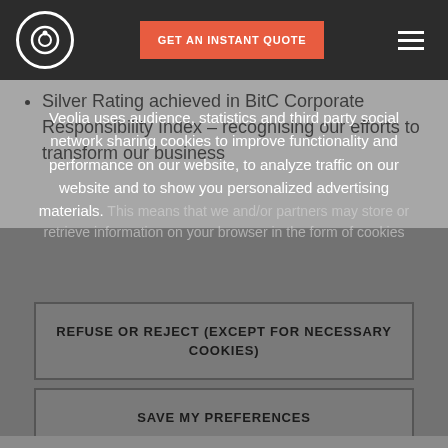Veolia navigation bar with logo, GET AN INSTANT QUOTE button, and hamburger menu
Silver Rating achieved in BitC Corporate Responsibility Index – recognising our efforts to transform our business
Veolia uses audience, statistics and third party social network sharing cookies to improve functionality and performance on our website, to analyze traffic on our website and to show you personalized advertising materials. This means that we and/or partners may store or retrieve information on your browser in the form of cookies
REFUSE OR REJECT (EXCEPT FOR NECESSARY COOKIES)
SAVE MY PREFERENCES